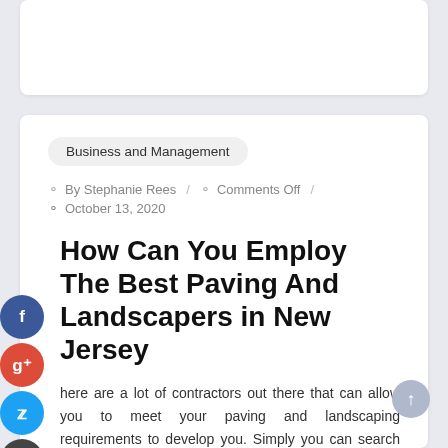Business and Management
By Stephanie Rees / Comments Off / October 13, 2020
How Can You Employ The Best Paving And Landscapers in New Jersey
There are a lot of contractors out there that can allow you to meet your paving and landscaping requirements to develop you. Simply you can search for providers and contractors on the internet landscape. Besides the exact location along with contact information including address